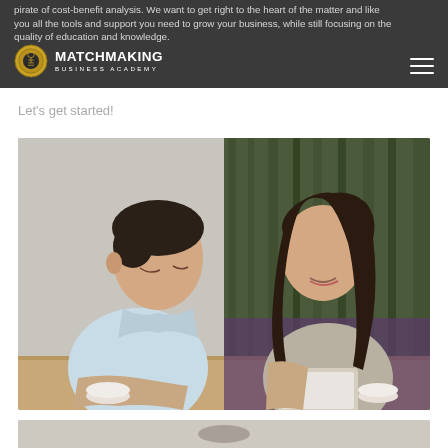pirate of cost-benefit analysis. We want to get right to the heart of the matter and like you all the tools and support you need to grow your business, while still focusing on the quality of education and knowledge.
[Figure (logo): Matchmaking Business Academy logo with gold badge emblem and white text]
Let's get started!
[Figure (photo): Two people sitting at a table: a man in a light blue shirt smiling on the left, and a woman with long dark hair smiling on the right, with a tablet on the table between them.]
[Figure (photo): Partial view of another photo at the bottom of the page, showing a light gray/beige background.]